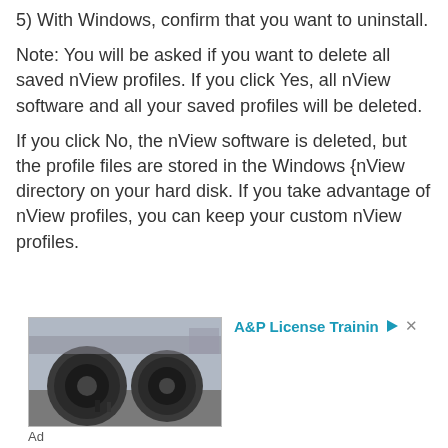5) With Windows, confirm that you want to uninstall.
Note: You will be asked if you want to delete all saved nView profiles. If you click Yes, all nView software and all your saved profiles will be deleted.
If you click No, the nView software is deleted, but the profile files are stored in the Windows {nView directory on your hard disk. If you take advantage of nView profiles, you can keep your custom nView profiles.
[Figure (photo): Advertisement showing aircraft jet engines on a tarmac with the text 'A&P License Training' and ad controls]
Ad